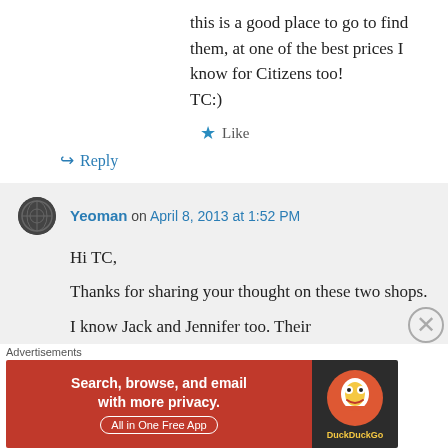this is a good place to go to find them, at one of the best prices I know for Citizens too!
TC:)
★ Like
↪ Reply
Yeoman on April 8, 2013 at 1:52 PM
Hi TC,

Thanks for sharing your thought on these two shops.

I know Jack and Jennifer too. Their
Advertisements
[Figure (screenshot): DuckDuckGo advertisement banner: 'Search, browse, and email with more privacy. All in One Free App' on red/orange background with DuckDuckGo logo on dark background]